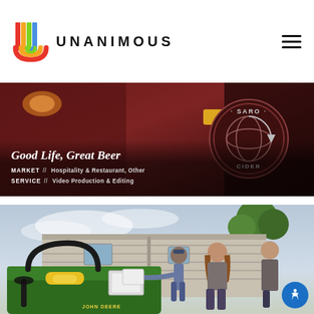UNANIMOUS
[Figure (photo): Close-up of a dark red/maroon tractor or vehicle with a circular SARO Cider emblem/badge visible on the side]
Good Life, Great Beer
MARKET // Hospitality & Restaurant, Other
SERVICE // Video Production & Editing
[Figure (photo): Outdoor scene showing people working near a John Deere utility vehicle in front of a house, loading or unloading boxes, with trees in the background]